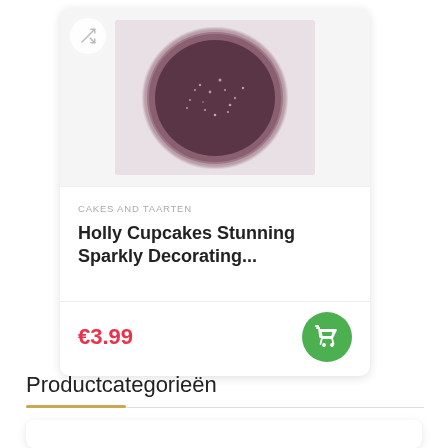[Figure (photo): Product card showing a jar of purple/mauve sparkly decorating glitter from Holly Cupcakes, viewed from above on a light background. Card has a shuffle icon button, product image, category label, product title, price in red, and green cart button.]
CAKES AND TAARTEN
Holly Cupcakes Stunning Sparkly Decorating...
€3.99
Productcategorieën